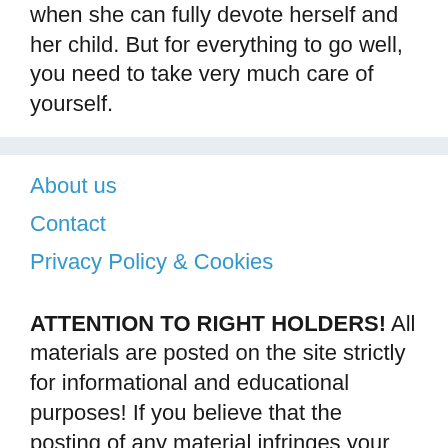when she can fully devote herself and her child. But for everything to go well, you need to take very much care of yourself.
About us
Contact
Privacy Policy & Cookies
ATTENTION TO RIGHT HOLDERS! All materials are posted on the site strictly for informational and educational purposes! If you believe that the posting of any material infringes your copyright, be sure to contact us through the contact form and your material will be removed!